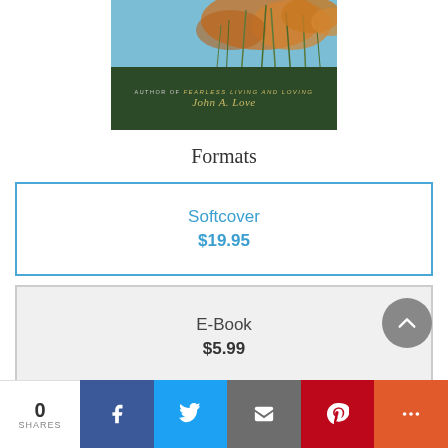[Figure (photo): Book cover showing reeds/marshland with blue sky, dark green band at bottom with author name 'John A. Love' in gold italic and subtitle 'AUTHOR OF Fearless Living and Loving']
Formats
Softcover
$19.95
E-Book
$5.99